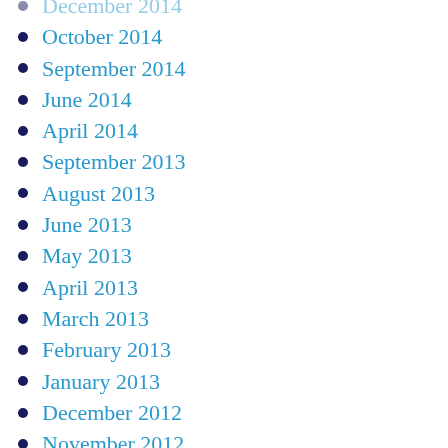December 2014
October 2014
September 2014
June 2014
April 2014
September 2013
August 2013
June 2013
May 2013
April 2013
March 2013
February 2013
January 2013
December 2012
November 2012
October 2012
September 2012